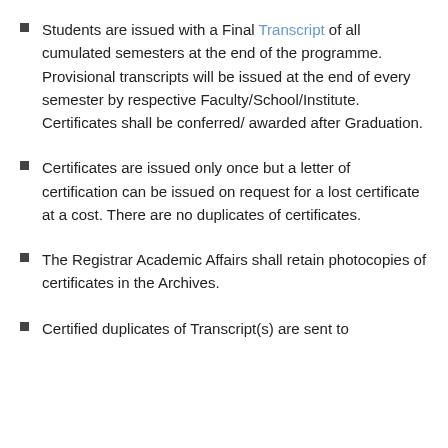Students are issued with a Final Transcript of all cumulated semesters at the end of the programme. Provisional transcripts will be issued at the end of every semester by respective Faculty/School/Institute. Certificates shall be conferred/ awarded after Graduation.
Certificates are issued only once but a letter of certification can be issued on request for a lost certificate at a cost. There are no duplicates of certificates.
The Registrar Academic Affairs shall retain photocopies of certificates in the Archives.
Certified duplicates of Transcript(s) are sent to